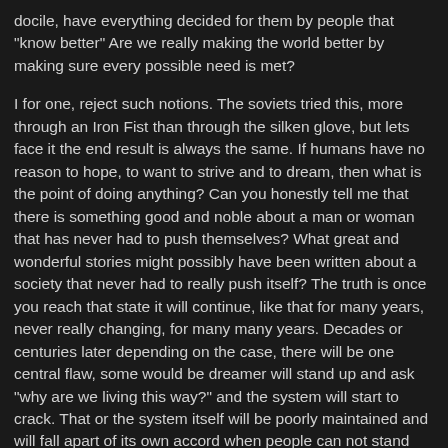docile, have everything decided for them by people that "know better"  Are we really making the world better by making sure every possible need is met?
I for one, reject such notions.  The soviets tried this, more through an Iron Fist than through the silken glove, but lets face it the end result is always the same.  If humans have no reason to hope, to want to strive and to dream, then what is the point of doing anything?  Can you honestly tell me that there is something good and noble about a man or woman that has never had to push themselves?   What great and wonderful stories might possibly have been written about a society that never had to really push itself?  The truth is once you reach that state it will continue, like that for many years, never really changing, for many many years.  Decades or centuries later depending on the case, there will be one central flaw, some would be dreamer will stand up and ask "why are we living this way?" and the system will start to crack.  That or the system itself will be poorly maintained and will fall apart of its own accord when people can not stand the massive inefficiencies.